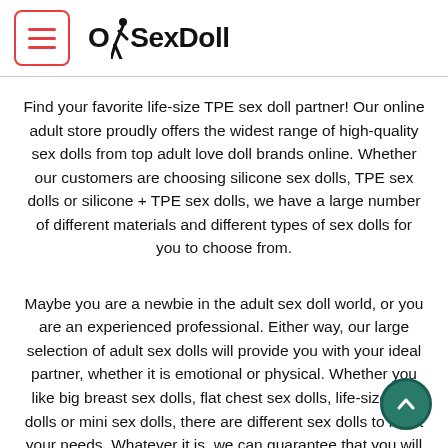OhSexDoll
Find your favorite life-size TPE sex doll partner! Our online adult store proudly offers the widest range of high-quality sex dolls from top adult love doll brands online. Whether our customers are choosing silicone sex dolls, TPE sex dolls or silicone + TPE sex dolls, we have a large number of different materials and different types of sex dolls for you to choose from.
Maybe you are a newbie in the adult sex doll world, or you are an experienced professional. Either way, our large selection of adult sex dolls will provide you with your ideal partner, whether it is emotional or physical. Whether you like big breast sex dolls, flat chest sex dolls, life-size sex dolls or mini sex dolls, there are different sex dolls to meet your needs. Whatever it is, we can guarantee that you will